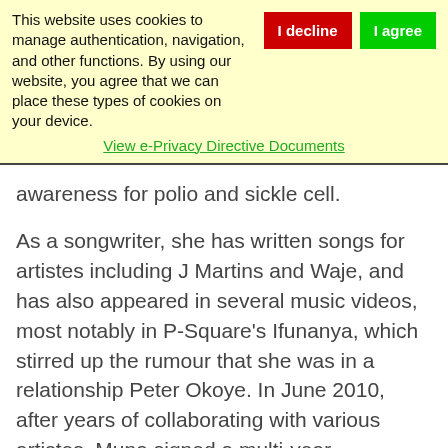This website uses cookies to manage authentication, navigation, and other functions. By using our website, you agree that we can place these types of cookies on your device.
View e-Privacy Directive Documents
awareness for polio and sickle cell.
As a songwriter, she has written songs for artistes including J Martins and Waje, and has also appeared in several music videos, most notably in P-Square's Ifunanya, which stirred up the rumour that she was in a relationship Peter Okoye. In June 2010, after years of collaborating with various artistes, Muna signed a multi-year management contract with Ayo Shonaiaya's RMG Company, and began working on her debut album The Goddess, The Hustler, which will include the singles, I Feel